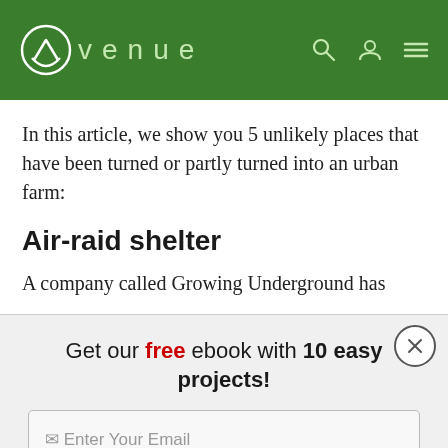Avenue
In this article, we show you 5 unlikely places that have been turned or partly turned into an urban farm:
Air-raid shelter
A company called Growing Underground has
Get our free ebook with 10 easy projects!
Enter Your Email
Download